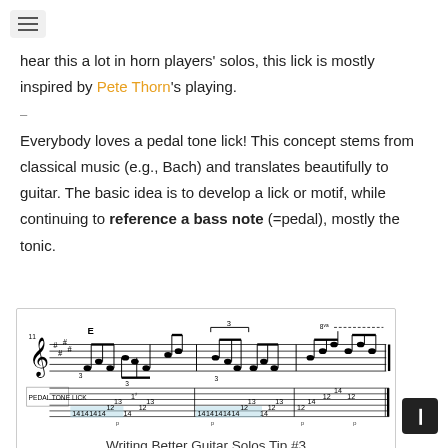hear this a lot in horn players' solos, this lick is mostly inspired by Pete Thorn's playing.
–
Everybody loves a pedal tone lick! This concept stems from classical music (e.g., Bach) and translates beautifully to guitar. The basic idea is to develop a lick or motif, while continuing to reference a bass note (=pedal), mostly the tonic.
[Figure (other): Guitar tablature and music notation showing a pedal tone lick with fret numbers including 14-14-14-14, 12-13, 14, 12-13, 14-14-14-14-14, 12-13, 14, 12-13, 12-14, 12-14-12 labeled as PEDAL TONE LICK]
Writing Better Guitar Solos Tip #3